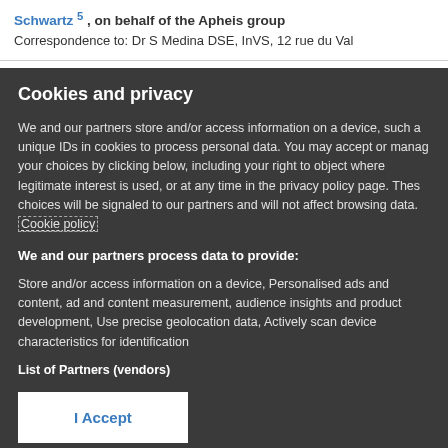Schwartz 5 , on behalf of the Apheis group
Correspondence to: Dr S Medina DSE, InVS, 12 rue du Val
Cookies and privacy
We and our partners store and/or access information on a device, such a unique IDs in cookies to process personal data. You may accept or manage your choices by clicking below, including your right to object where legitimate interest is used, or at any time in the privacy policy page. These choices will be signaled to our partners and will not affect browsing data. Cookie policy
We and our partners process data to provide:
Store and/or access information on a device, Personalised ads and content, ad and content measurement, audience insights and product development, Use precise geolocation data, Actively scan device characteristics for identification
List of Partners (vendors)
I Accept